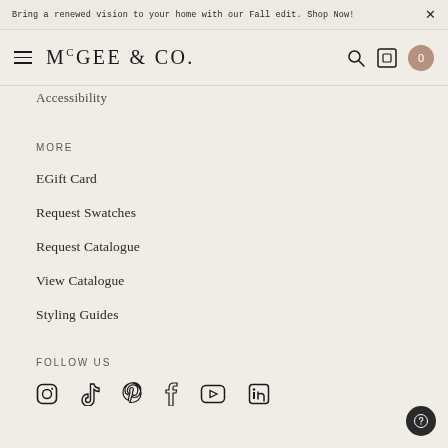Bring a renewed vision to your home with our Fall edit. Shop Now!
[Figure (logo): McGee & Co. logo with hamburger menu, search icon, visual search icon, and cart badge showing 0]
Accessibility
MORE
EGift Card
Request Swatches
Request Catalogue
View Catalogue
Styling Guides
FOLLOW US
[Figure (infographic): Social media icons: Instagram, TikTok, Pinterest, Facebook, YouTube, LinkedIn]